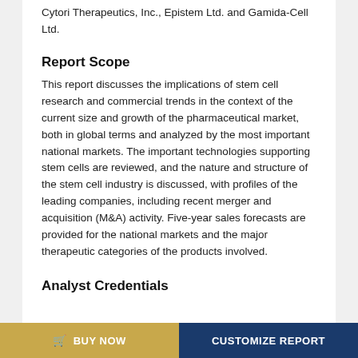Cytori Therapeutics, Inc., Epistem Ltd. and Gamida-Cell Ltd.
Report Scope
This report discusses the implications of stem cell research and commercial trends in the context of the current size and growth of the pharmaceutical market, both in global terms and analyzed by the most important national markets. The important technologies supporting stem cells are reviewed, and the nature and structure of the stem cell industry is discussed, with profiles of the leading companies, including recent merger and acquisition (M&A) activity. Five-year sales forecasts are provided for the national markets and the major therapeutic categories of the products involved.
Analyst Credentials
BUY NOW   CUSTOMIZE REPORT